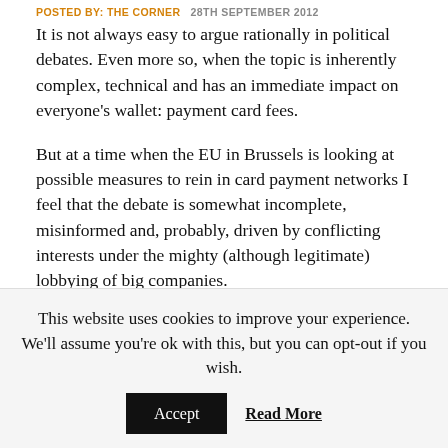POSTED BY: THE CORNER   28TH SEPTEMBER 2012
It is not always easy to argue rationally in political debates. Even more so, when the topic is inherently complex, technical and has an immediate impact on everyone's wallet: payment card fees.
But at a time when the EU in Brussels is looking at possible measures to rein in card payment networks I feel that the debate is somewhat incomplete, misinformed and, probably, driven by conflicting interests under the mighty (although legitimate) lobbying of big companies.
At the end of September, the European
This website uses cookies to improve your experience. We'll assume you're ok with this, but you can opt-out if you wish.
Accept   Read More